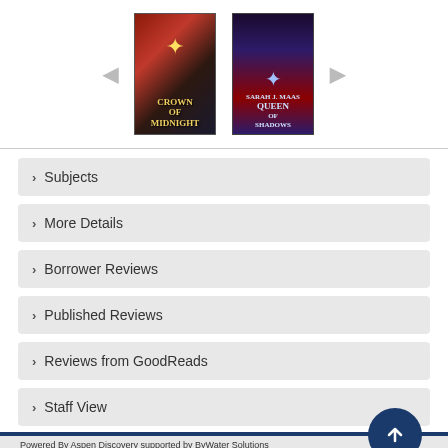[Figure (other): Book carousel showing two book covers: 'Crown of Midnight' and another fantasy book, with left and right navigation arrows]
> Subjects
> More Details
> Borrower Reviews
> Published Reviews
> Reviews from GoodReads
> Staff View
Powered By Aspen Discovery supported by ByWater Solutions
v. 22.08.01
CONNECT WITH US [Twitter] [Facebook] [YouTube] [Instagram] [Pinterest] [Goodreads]